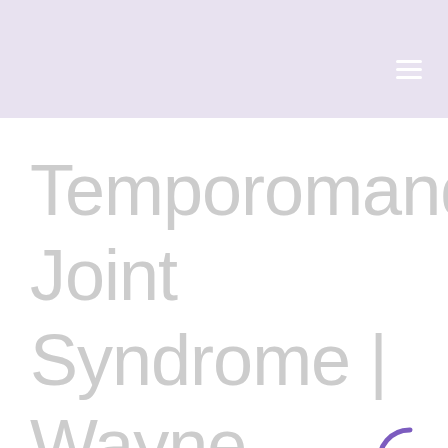Temporomandibular Joint Syndrome | Wayne Family Orthodontics
[Figure (other): Purple loading spinner arc indicating page is loading]